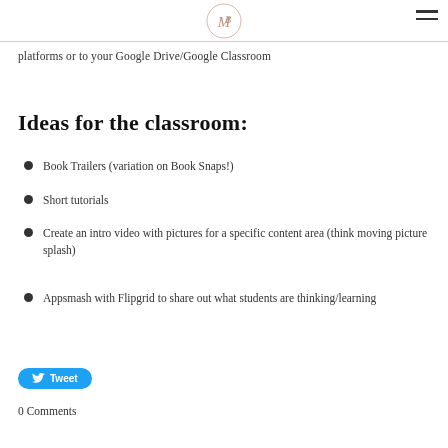MB logo and hamburger menu
platforms or to your Google Drive/Google Classroom
Ideas for the classroom:
Book Trailers (variation on Book Snaps!)
Short tutorials
Create an intro video with pictures for a specific content area (think moving picture splash)
Appsmash with Flipgrid to share out what students are thinking/learning
Tweet
0 Comments